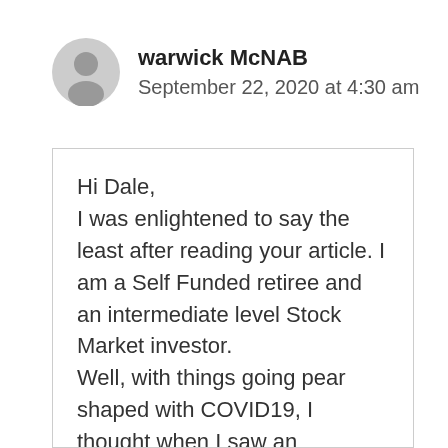[Figure (illustration): Generic user avatar icon — grey silhouette of a person in a circle]
warwick McNAB
September 22, 2020 at 4:30 am
Hi Dale,
I was enlightened to say the least after reading your article. I am a Self Funded retiree and an intermediate level Stock Market investor.
Well, with things going pear shaped with COVID19, I thought when I saw an advertisement for money to be made in advertising I immediately saw the opportunity